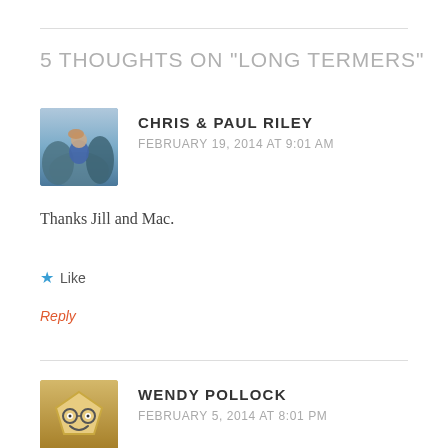5 THOUGHTS ON “LONG TERMERS”
CHRIS & PAUL RILEY
FEBRUARY 19, 2014 AT 9:01 AM
Thanks Jill and Mac.
★ Like
Reply
WENDY POLLOCK
FEBRUARY 5, 2014 AT 8:01 PM